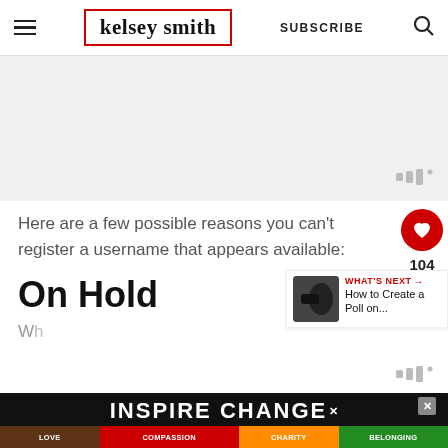kelsey smith | SUBSCRIBE
[Figure (screenshot): Gray advertisement placeholder area with audio/dots icon in bottom right]
Here are a few possible reasons you can't register a username that appears available:
On Hold
Wh...
[Figure (infographic): Bottom banner ad: INSPIRE CHANGE with rainbow bar showing LOVE COMPASSION CHARITY BELONGING, with close X button]